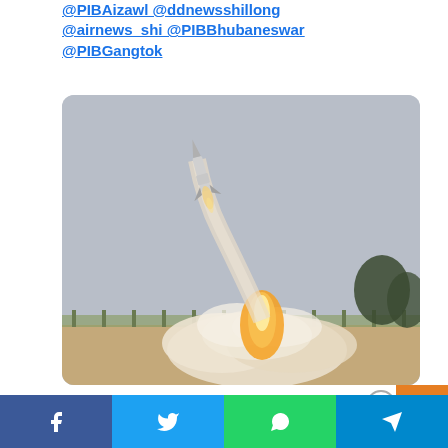@PIBAizawl @ddnewsshillong @airnews_shi @PIBBhubaneswar @PIBGangtok
[Figure (photo): A missile launching into the sky with a large plume of smoke and fire beneath it. Taken from a launch pad area with a fence visible in the background and trees on the right.]
10:36 AM · Apr 8, 2022
Facebook | Twitter | WhatsApp | Telegram